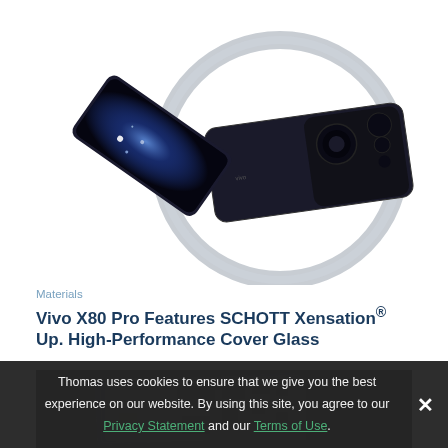[Figure (photo): Vivo X80 Pro smartphone shown from front and back, displayed through a circular silver ring/frame on a white background]
Materials
Vivo X80 Pro Features SCHOTT Xensation® Up. High-Performance Cover Glass
[Figure (photo): Dark background image showing stacked electronic circuit boards or glass panels with PCB-like markings and components]
Thomas uses cookies to ensure that we give you the best experience on our website. By using this site, you agree to our Privacy Statement and our Terms of Use.